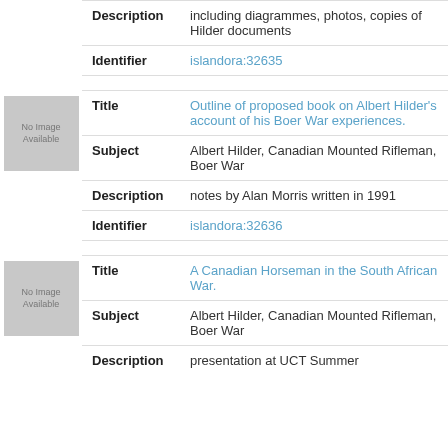Description: including diagrammes, photos, copies of Hilder documents
Identifier: islandora:32635
[Figure (other): No Image Available placeholder thumbnail]
Title: Outline of proposed book on Albert Hilder's account of his Boer War experiences.
Subject: Albert Hilder, Canadian Mounted Rifleman, Boer War
Description: notes by Alan Morris written in 1991
Identifier: islandora:32636
[Figure (other): No Image Available placeholder thumbnail]
Title: A Canadian Horseman in the South African War.
Subject: Albert Hilder, Canadian Mounted Rifleman, Boer War
Description: presentation at UCT Summer